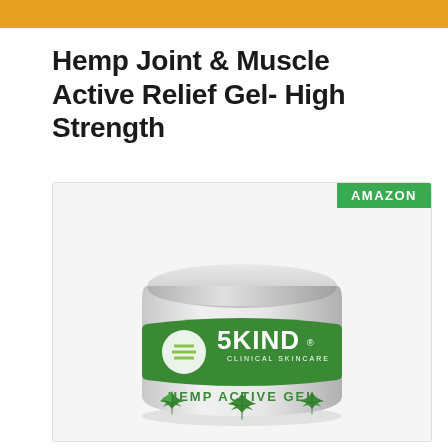Hemp Joint & Muscle Active Relief Gel- High Strength
[Figure (photo): 5KIND Clinical Skincare Hemp Active Gel product jar with green label and hemp leaf graphics, shown in a product listing image box with an Amazon badge in the top right corner.]